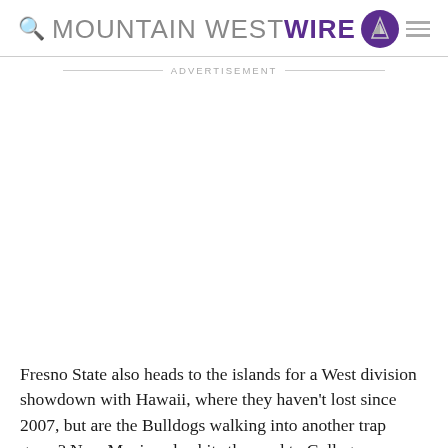MOUNTAIN WEST WIRE
ADVERTISEMENT
Fresno State also heads to the islands for a West division showdown with Hawaii, where they haven't lost since 2007, but are the Bulldogs walking into another trap game? New Mexico also hits the road to College Station...